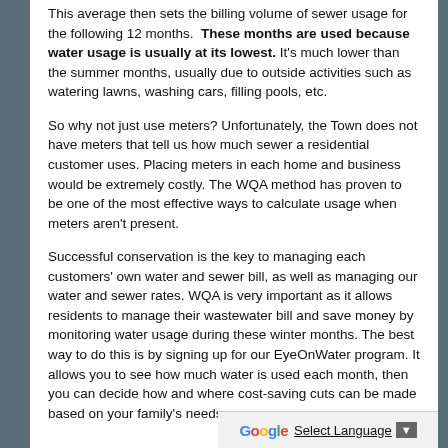This average then sets the billing volume of sewer usage for the following 12 months. These months are used because water usage is usually at its lowest. It's much lower than the summer months, usually due to outside activities such as watering lawns, washing cars, filling pools, etc.
So why not just use meters? Unfortunately, the Town does not have meters that tell us how much sewer a residential customer uses. Placing meters in each home and business would be extremely costly. The WQA method has proven to be one of the most effective ways to calculate usage when meters aren't present.
Successful conservation is the key to managing each customers' own water and sewer bill, as well as managing our water and sewer rates. WQA is very important as it allows residents to manage their wastewater bill and save money by monitoring water usage during these winter months. The best way to do this is by signing up for our EyeOnWater program. It allows you to see how much water is used each month, then you can decide how and where cost-saving cuts can be made based on your family's needs.